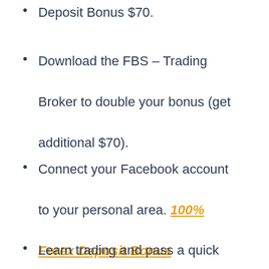Deposit Bonus $70.
Download the FBS – Trading Broker to double your bonus (get additional $70).
Connect your Facebook account to your personal area. 100% Forex Deposit Bonus
Learn trading and pass a quick